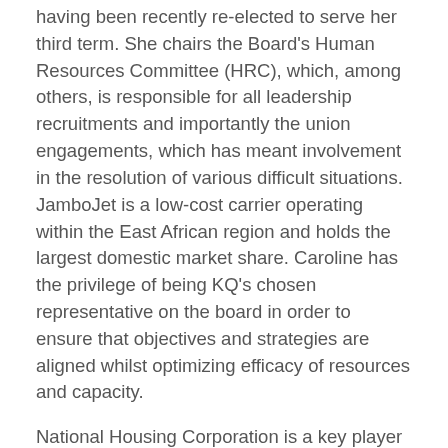having been recently re-elected to serve her third term. She chairs the Board's Human Resources Committee (HRC), which, among others, is responsible for all leadership recruitments and importantly the union engagements, which has meant involvement in the resolution of various difficult situations.
JamboJet is a low-cost carrier operating within the East African region and holds the largest domestic market share. Caroline has the privilege of being KQ's chosen representative on the board in order to ensure that objectives and strategies are aligned whilst optimizing efficacy of resources and capacity.
National Housing Corporation is a key player in the delivery of the country's Affordable Housing